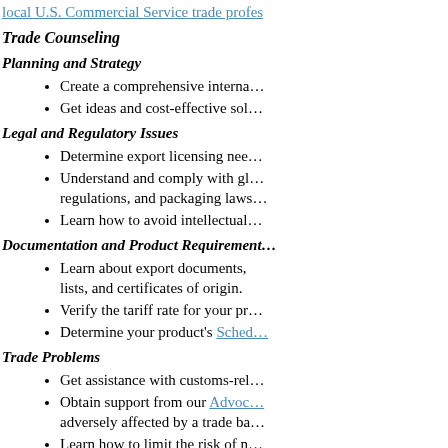local U.S. Commercial Service trade profes…
Trade Counseling
Planning and Strategy
Create a comprehensive interna…
Get ideas and cost-effective sol…
Legal and Regulatory Issues
Determine export licensing nee…
Understand and comply with gl… regulations, and packaging laws…
Learn how to avoid intellectual…
Documentation and Product Requirement…
Learn about export documents, lists, and certificates of origin.
Verify the tariff rate for your pr…
Determine your product's Sched…
Trade Problems
Get assistance with customs-rel…
Obtain support from our Advoc… adversely affected by a trade ba…
Learn how to limit the risk of n…
Trade Finance and Insurance